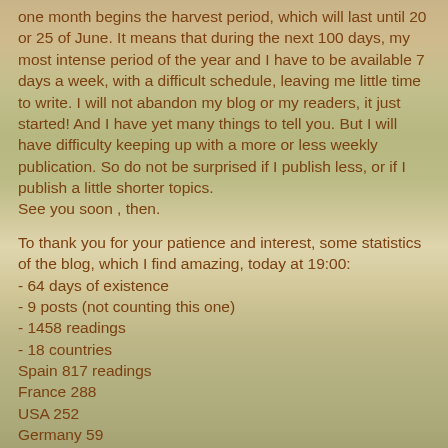one month begins the harvest period, which will last until 20 or 25 of June. It means that during the next 100 days, my most intense period of the year and I have to be available 7 days a week, with a difficult schedule, leaving me little time to write. I will not abandon my blog or my readers, it just started! And I have yet many things to tell you. But I will have difficulty keeping up with a more or less weekly publication. So do not be surprised if I publish less, or if I publish a little shorter topics.
See you soon , then.
To thank you for your patience and interest, some statistics of the blog, which I find amazing, today at 19:00:
- 64 days of existence
- 9 posts (not counting this one)
- 1458 readings
- 18 countries
Spain 817 readings
France 288
USA 252
Germany 59
Switzerland 10